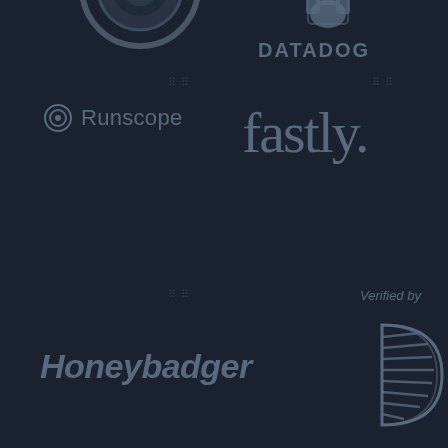[Figure (logo): New Relic logo (partial, top cut off) - circular dark logo]
[Figure (logo): Datadog logo with dog paw icon and DATADOG text]
[Figure (logo): Runscope logo with circular target icon and Runscope text]
[Figure (logo): Fastly logo in large italic-style sans-serif text]
[Figure (logo): Honeybadger logo in italic bold text]
Verified by
[Figure (logo): Drupal D logo - stylized D shape with parallel lines]
Secured by
[Figure (logo): WhiteSource logo with helmet/hardhat icon and WhiteSource text]